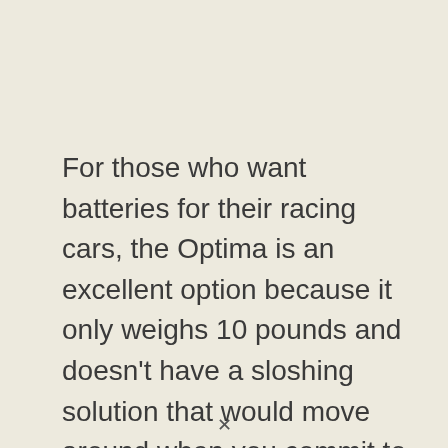For those who want batteries for their racing cars, the Optima is an excellent option because it only weighs 10 pounds and doesn’t have a sloshing solution that would move around when you commit to each turn.
For those that participate in major